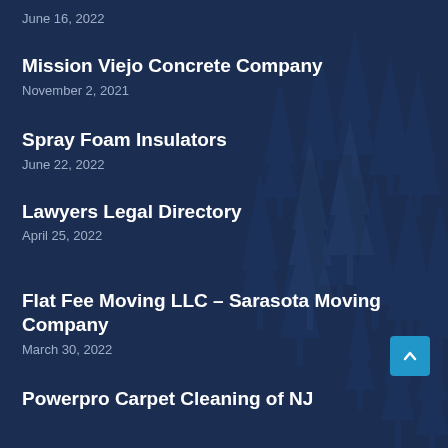June 16, 2022
Mission Viejo Concrete Company
November 2, 2021
Spray Foam Insulators
June 22, 2022
Lawyers Legal Directory
April 25, 2022
Flat Fee Moving LLC – Sarasota Moving Company
March 30, 2022
Powerpro Carpet Cleaning of NJ